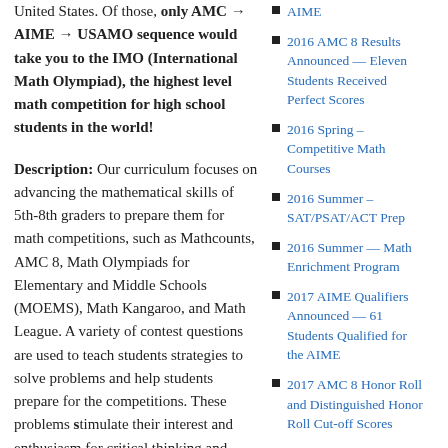United States. Of those, only AMC → AIME → USAMO sequence would take you to the IMO (International Math Olympiad), the highest level math competition for high school students in the world!
Description: Our curriculum focuses on advancing the mathematical skills of 5th-8th graders to prepare them for math competitions, such as Mathcounts, AMC 8, Math Olympiads for Elementary and Middle Schools (MOEMS), Math Kangaroo, and Math League. A variety of contest questions are used to teach students strategies to solve problems and help students prepare for the competitions. These problems stimulate their interest and enthusiasm for critical thinking and problem solving, broaden their mathematical intuition, and develop their brainpower. The topics taught
2016 AMC 8 Results Announced — Eleven Students Received Perfect Scores
2016 Spring – Competitive Math Courses
2016 Summer – SAT/PSAT/ACT Prep
2016 Summer — Math Enrichment Program
2017 AIME Qualifiers Announced — 61 Students Qualified for the AIME
2017 AMC 8 Honor Roll and Distinguished Honor Roll Cut-off Scores